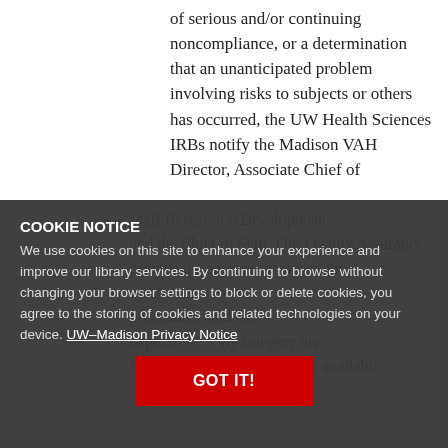of serious and/or continuing noncompliance, or a determination that an unanticipated problem involving risks to subjects or others has occurred, the UW Health Sciences IRBs notify the Madison VAH Director, Associate Chief of Staff/Research & Development...
COOKIE NOTICE
We use cookies on this site to enhance your experience and improve our library services. By continuing to browse without changing your browser settings to block or delete cookies, you agree to the storing of cookies and related technologies on your device. UW–Madison Privacy Notice
GOT IT!